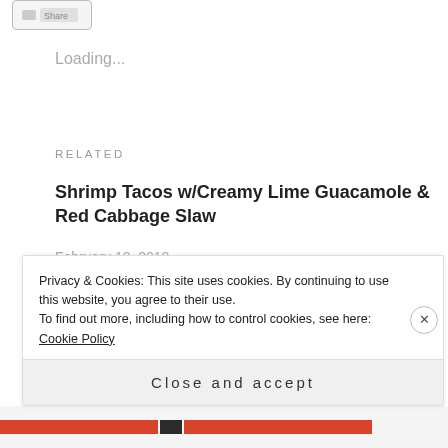[Figure (screenshot): Partial UI button at top left, partially cropped]
Loading...
RELATED
Shrimp Tacos w/Creamy Lime Guacamole & Red Cabbage Slaw
February 10, 2018
In "Shrimp"
Crabmeat Stuffed Branzino
May 14, 2016
In "Fish"
Privacy & Cookies: This site uses cookies. By continuing to use this website, you agree to their use.
To find out more, including how to control cookies, see here: Cookie Policy
Close and accept